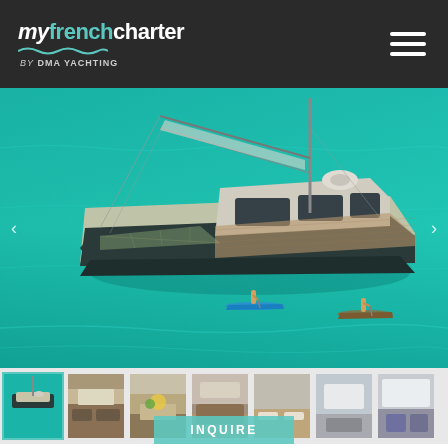myfrenchcharter by DMA YACHTING
[Figure (photo): Aerial view of a large luxury sailing catamaran anchored in turquoise water, with two people paddleboarding nearby]
[Figure (photo): Thumbnail strip showing 7 photos of the yacht interior and exterior]
INQUIRE